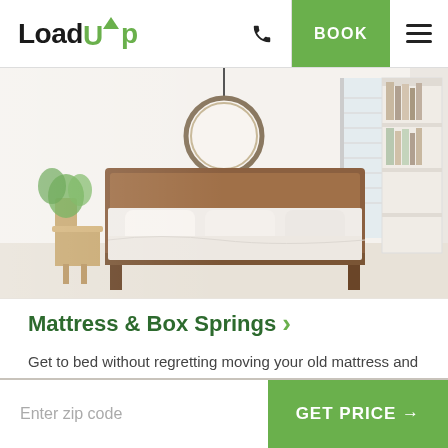LoadUp | BOOK
[Figure (photo): Bright modern bedroom with a wooden bed frame, white bedding, round hanging mirror, green plant, and white bookshelf by the window]
Mattress & Box Springs
Get to bed without regretting moving your old mattress and let us do the heavy lifting.
Enter zip code | GET PRICE →